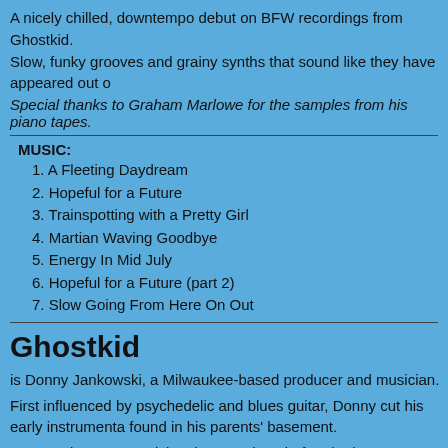A nicely chilled, downtempo debut on BFW recordings from Ghostkid.
Slow, funky grooves and grainy synths that sound like they have appeared out o
Special thanks to Graham Marlowe for the samples from his piano tapes.
MUSIC:
1. A Fleeting Daydream
2. Hopeful for a Future
3. Trainspotting with a Pretty Girl
4. Martian Waving Goodbye
5. Energy In Mid July
6. Hopeful for a Future (part 2)
7. Slow Going From Here On Out
Ghostkid
is Donny Jankowski, a Milwaukee-based producer and musician.
First influenced by psychedelic and blues guitar, Donny cut his early instrumenta found in his parents' basement.
Progressing as a musician, it wasn't long before he began migrating towards ele from lo-fi, IDM, dub, and psychedelia, Ghostkid currently loves balancing an org heavy backdrop and spacious atmosphere.
Ghostkid albums never sound completely alike, but multi-layered sound and a b
(Spooky Child is just one of many side projects).
[Figure (photo): Two album cover images side by side - a yellow cover with 'GHOSTKID PRESENTS' text in red and a dark cover with ghost-styled text]